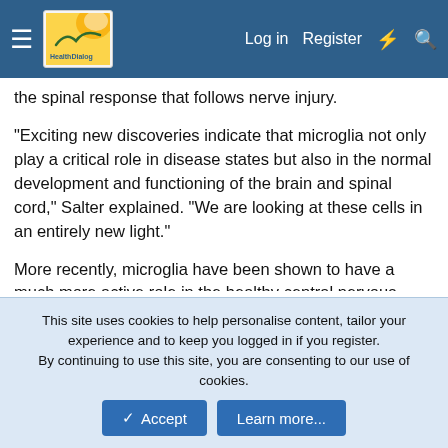HealthDialog — Log in | Register
the spinal response that follows nerve injury.
"Exciting new discoveries indicate that microglia not only play a critical role in disease states but also in the normal development and functioning of the brain and spinal cord," Salter explained. "We are looking at these cells in an entirely new light."
More recently, microglia have been shown to have a much more active role in the healthy central nervous system, and to be highly active in surveillance and rapid response - microglia monitor and control the activity of neurons in the healthy nervous system. Within the dorsal horn of the spinal cord, the area through which pain signals travel to the brain, microglia block the inhibition of pain transmitting neurons, making transmission of the pain signal more efficient. This can
This site uses cookies to help personalise content, tailor your experience and to keep you logged in if you register.
By continuing to use this site, you are consenting to our use of cookies.